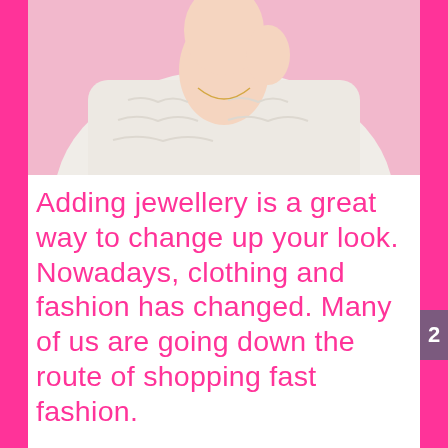[Figure (photo): Woman in white fluffy sweater holding a necklace against a pink background, viewed from chest up]
Adding jewellery is a great way to change up your look. Nowadays, clothing and fashion has changed. Many of us are going down the route of shopping fast fashion.
This is when large scale companies create low cost clothes available in multiple different sizes in the exact same design. Adding jewellery can help you stand out from the